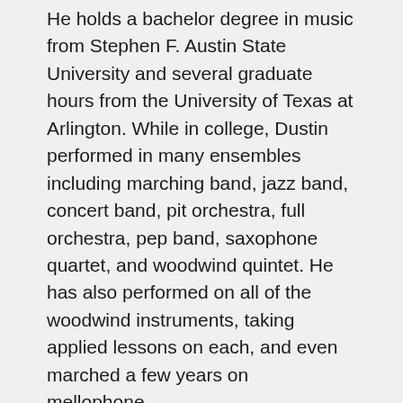He holds a bachelor degree in music from Stephen F. Austin State University and several graduate hours from the University of Texas at Arlington. While in college, Dustin performed in many ensembles including marching band, jazz band, concert band, pit orchestra, full orchestra, pep band, saxophone quartet, and woodwind quintet. He has also performed on all of the woodwind instruments, taking applied lessons on each, and even marched a few years on mellophone.
He counts two performances at Carnegie Hall as a member of the National Wind Ensemble, under the direction of H. Robert Reynolds, as one of the many highlights of his college years. He also performed twice as a member of the National Intercollegiate Band, sponsored by Kappa Kappa Psi and Tau Beta Sigma, National Honorary Band Fraternity and Sorority, respectively.
When not at school, Dustin spending time with his